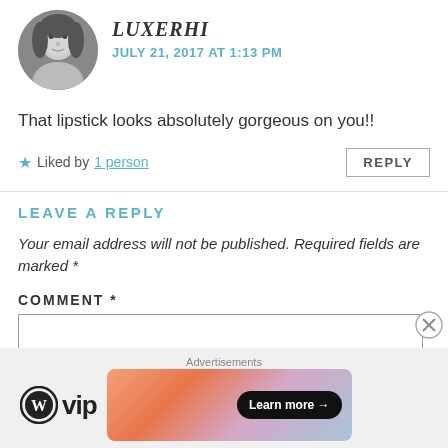[Figure (photo): Black and white circular avatar photo of a woman with dark hair]
LUXERHI
JULY 21, 2017 AT 1:13 PM
That lipstick looks absolutely gorgeous on you!!
★ Liked by 1 person
REPLY
LEAVE A REPLY
Your email address will not be published. Required fields are marked *
COMMENT *
[Figure (screenshot): WordPress VIP advertisement banner with Learn more button]